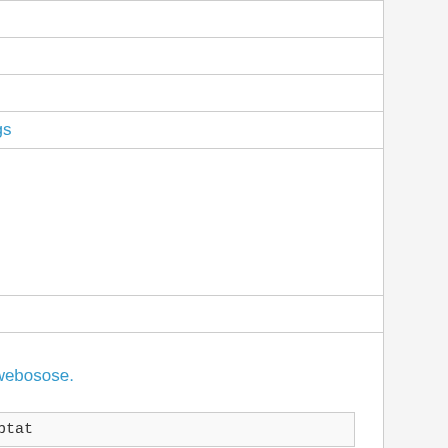| ID | Name |
| --- | --- |
| 125009227 | sleepd |
| 125002490 | test-apps |
| 125009256 | umediaserver |
| 125009291 | umediaserver-configs |
| 144566154 | umi |
| 159431493 | v8 |
| 174774357 | [https://github.com/webosose. api
videooutput-adaptat... |
| 174774758 | [https://github.com/webosose. mock
videooutput-adaptat... |